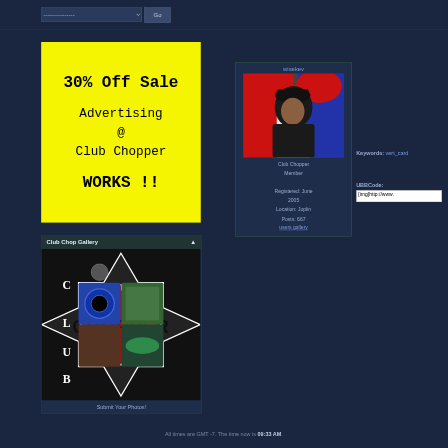[Figure (screenshot): Navigation bar with dropdown selector and Go button]
[Figure (infographic): Yellow advertisement box: 30% Off Sale - Advertising @ Club Chopper - WORKS !!]
30% Off Sale
Advertising @ Club Chopper
WORKS !!
Club Chop Gallery
[Figure (photo): Club Chopper logo with motorcycle imagery - iron cross design with CHOPPER text and motorcycles/animals photos]
Submit Your Photos!
wisekev
[Figure (photo): User avatar photo of wisekev - man in black hat against red white blue background]
Club Chopper Member
Registered: June 2005
Location: Joplin
Posts: 667
users gallery
Keywords: vert_card
UBBCode:
[img]http://www.
All times are GMT -7. The time now is 09:33 AM.